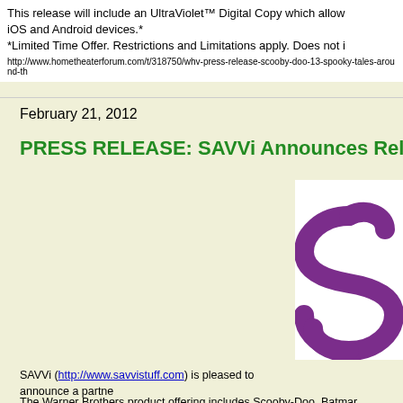This release will include an UltraViolet™ Digital Copy which allow iOS and Android devices.* *Limited Time Offer. Restrictions and Limitations apply. Does not i
http://www.hometheaterforum.com/t/318750/whv-press-release-scooby-doo-13-spooky-tales-around-th
February 21, 2012
PRESS RELEASE: SAVVi Announces Release o
[Figure (logo): SAVVi company logo — purple stylized 'S' letter on white background]
SAVVi (http://www.savvistuff.com) is pleased to announce a partne novelty printed products.
The Warner Brothers product offering includes Scooby-Doo, Batmar